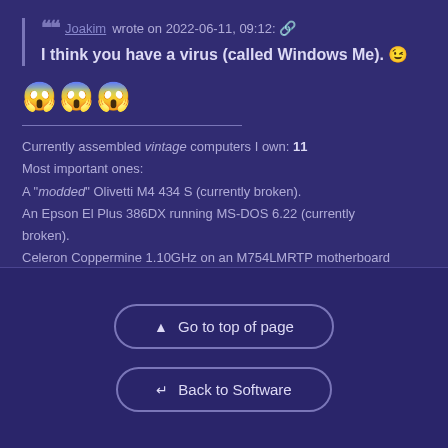Joakim wrote on 2022-06-11, 09:12: 🔗
I think you have a virus (called Windows Me). 😉
😱😱😱
Currently assembled vintage computers I own: 11
Most important ones:
A "modded" Olivetti M4 434 S (currently broken).
An Epson El Plus 386DX running MS-DOS 6.22 (currently broken).
Celeron Coppermine 1.10GHz on an M754LMRTP motherboard
▲ Go to top of page
↵ Back to Software